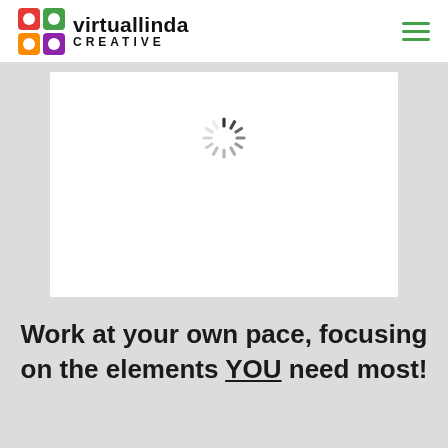[Figure (logo): Virtual Linda Creative logo with colorful grid of squares and brand name]
[Figure (screenshot): Loading spinner inside a white content box embedded in a gray background area]
Work at your own pace, focusing on the elements YOU need most!